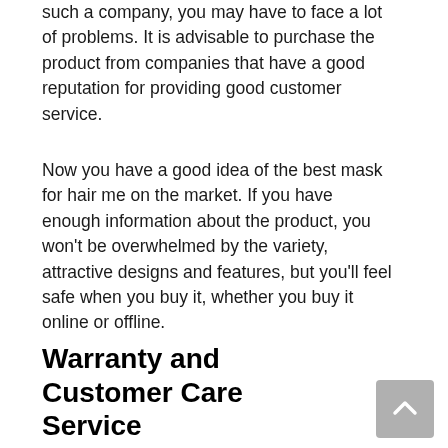such a company, you may have to face a lot of problems. It is advisable to purchase the product from companies that have a good reputation for providing good customer service.
Now you have a good idea of the best mask for hair me on the market. If you have enough information about the product, you won't be overwhelmed by the variety, attractive designs and features, but you'll feel safe when you buy it, whether you buy it online or offline.
Warranty and Customer Care Service